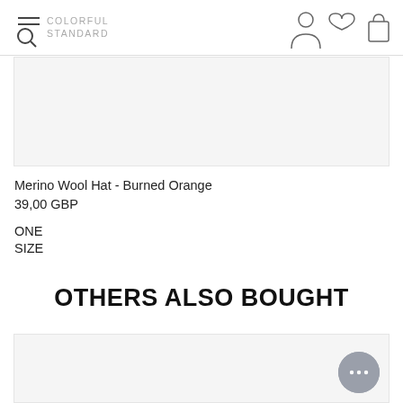COLORFUL STANDARD
[Figure (photo): Product image area - gray placeholder rectangle for Merino Wool Hat in Burned Orange]
Merino Wool Hat - Burned Orange
39,00 GBP
ONE
SIZE
OTHERS ALSO BOUGHT
[Figure (photo): Product image area - gray placeholder rectangle for recommended product]